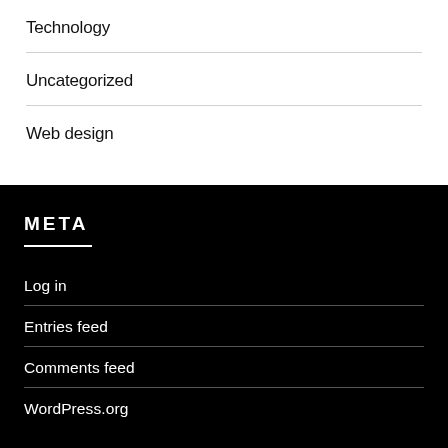Technology
Uncategorized
Web design
META
Log in
Entries feed
Comments feed
WordPress.org